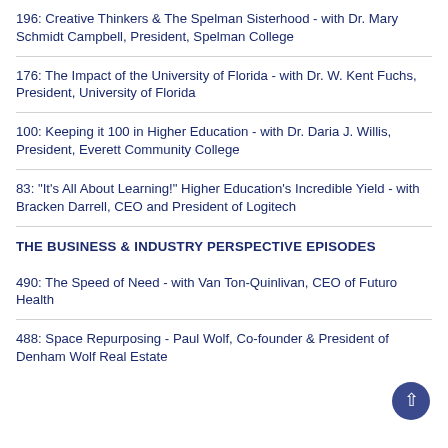196: Creative Thinkers & The Spelman Sisterhood - with Dr. Mary Schmidt Campbell, President, Spelman College
176: The Impact of the University of Florida - with Dr. W. Kent Fuchs, President, University of Florida
100: Keeping it 100 in Higher Education - with Dr. Daria J. Willis, President, Everett Community College
83: "It's All About Learning!" Higher Education's Incredible Yield - with Bracken Darrell, CEO and President of Logitech
THE BUSINESS & INDUSTRY PERSPECTIVE EPISODES
490: The Speed of Need - with Van Ton-Quinlivan, CEO of Futuro Health
488: Space Repurposing - Paul Wolf, Co-founder & President of Denham Wolf Real Estate